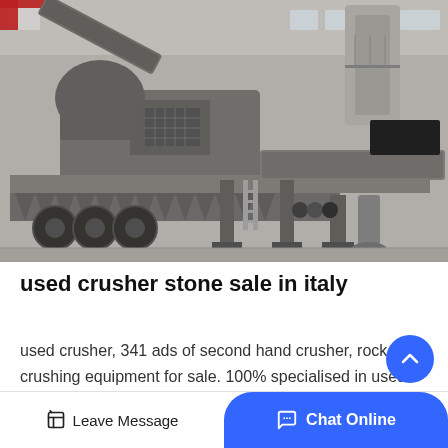[Figure (photo): Black and white photograph of a large mobile stone crusher machine on a semi-trailer truck, inside an industrial factory/warehouse building with steel structure and large windows.]
used crusher stone sale in italy
used crusher, 341 ads of second hand crusher, rock crushing equipment for sale. 100% specialised in used construction materials. Europe-Construction-E...